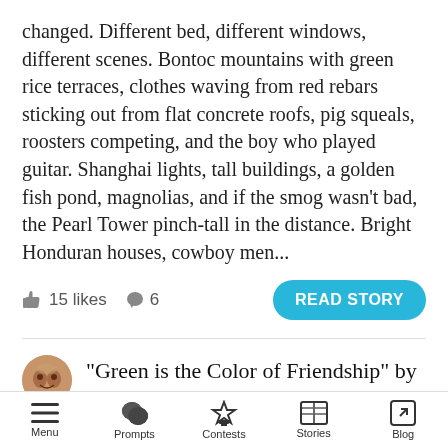changed. Different bed, different windows, different scenes. Bontoc mountains with green rice terraces, clothes waving from red rebars sticking out from flat concrete roofs, pig squeals, roosters competing, and the boy who played guitar. Shanghai lights, tall buildings, a golden fish pond, magnolias, and if the smog wasn't bad, the Pearl Tower pinch-tall in the distance. Bright Honduran houses, cowboy men...
15 likes  6  READ STORY
“Green is the Color of Friendship” by Christopher G
The only time I’ve dealt with death was with my hamster, Chubs. He died a quiet death for unknown
Menu  Prompts  Contests  Stories  Blog